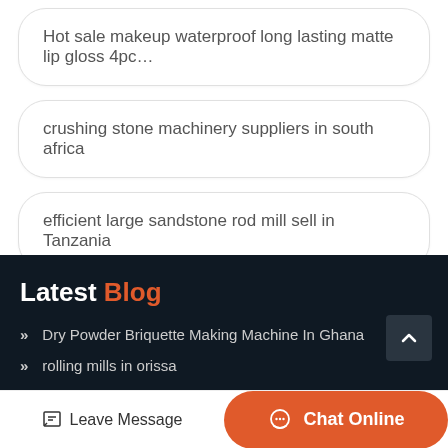Hot sale makeup waterproof long lasting matte lip gloss 4pc…
crushing stone machinery suppliers in south africa
efficient large sandstone rod mill sell in Tanzania
Latest Blog
Dry Powder Briquette Making Machine In Ghana
rolling mills in orissa
Leave Message | Chat Online